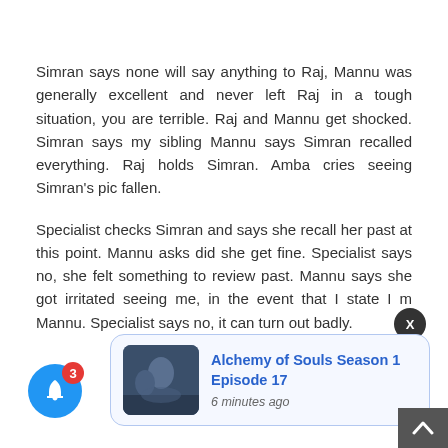Simran says none will say anything to Raj, Mannu was generally excellent and never left Raj in a tough situation, you are terrible. Raj and Mannu get shocked. Simran says my sibling Mannu says Simran recalled everything. Raj holds Simran. Amba cries seeing Simran’s pic fallen.
Specialist checks Simran and says she recall her past at this point. Mannu asks did she get fine. Specialist says no, she felt something to review past. Mannu says she got irritated seeing me, in the event that I state I m Mannu. Specialist says no, it can turn out badly.
[Figure (other): Blue notification bell icon with red badge showing number 3]
[Figure (other): Dark circular close button with X]
[Figure (other): Notification card with thumbnail image and text: Alchemy of Souls Season 1 Episode 17, 6 minutes ago]
[Figure (other): Dark grey scroll-to-top arrow button in bottom right corner]